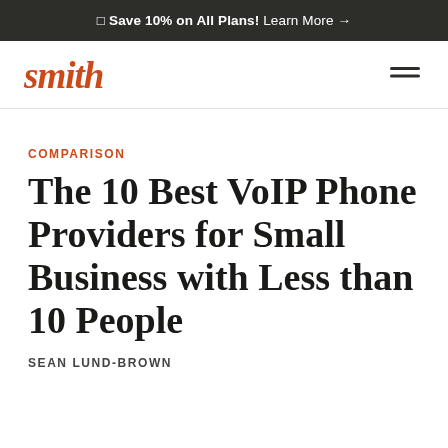🔲 Save 10% on All Plans! Learn More →
smith
COMPARISON
The 10 Best VoIP Phone Providers for Small Business with Less than 10 People
SEAN LUND-BROWN